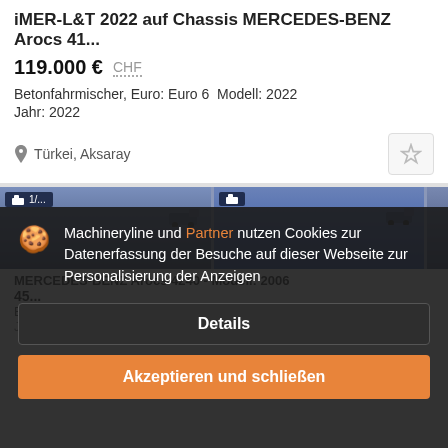iMER-L&T 2022 auf Chassis MERCEDES-BENZ Arocs 41...
119.000 € CHF
Betonfahrmischer, Euro: Euro 6  Modell: 2022
Jahr: 2022
Türkei, Aksaray
[Figure (screenshot): Two thumbnail images of trucks/concrete mixers with blue overlay headers]
Machineryline und Partner nutzen Cookies zur Datenerfassung der Besuche auf dieser Webseite zur Personalisierung der Anzeigen
Details
Akzeptieren und schließen
MERCEDES-BENZ Arocs 4240 - Modell: 2006
45...
Betonfahrmischer
Jahr: 06/2006  Km-Stand: 419000 km